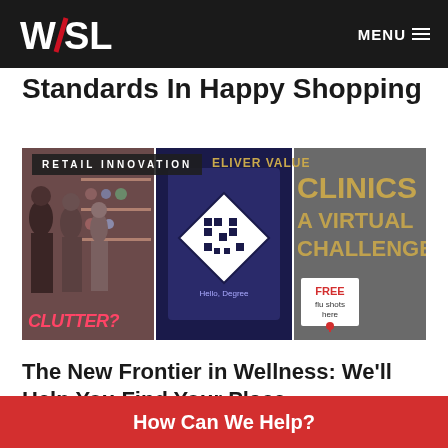WSL   MENU
Standards In Happy Shopping
[Figure (photo): Composite retail innovation banner image showing shoppers browsing products in store, a QR code digital display, and a pharmacy clinic sign with free flu shots offer. Label reads RETAIL INNOVATION. Overlaid text includes CLUTTER?, DELIVER VALUE, CLINICS: A VIRTUAL CHALLENGE]
The New Frontier in Wellness: We'll Help You Find Your Place
How Can We Help?